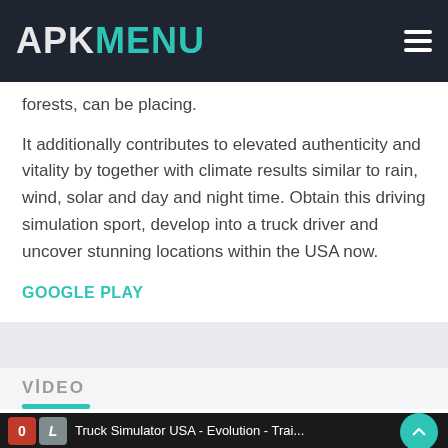APK MENU
forests, can be placing.
It additionally contributes to elevated authenticity and vitality by together with climate results similar to rain, wind, solar and day and night time. Obtain this driving simulation sport, develop into a truck driver and uncover stunning locations within the USA now.
GOOGLE PLAY
VİDEO
Truck Simulator USA - Evolution - Trai...